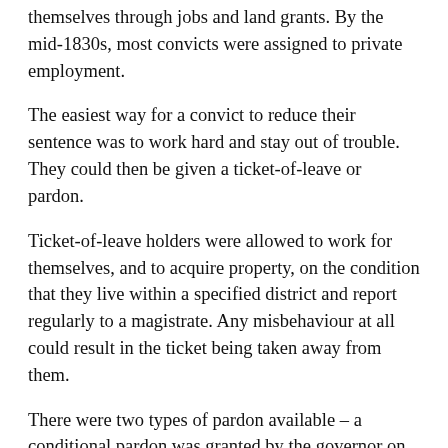themselves through jobs and land grants. By the mid-1830s, most convicts were assigned to private employment.
The easiest way for a convict to reduce their sentence was to work hard and stay out of trouble. They could then be given a ticket-of-leave or pardon.
Ticket-of-leave holders were allowed to work for themselves, and to acquire property, on the condition that they live within a specified district and report regularly to a magistrate. Any misbehaviour at all could result in the ticket being taken away from them.
There were two types of pardon available – a conditional pardon was granted by the governor on the condition that the former convict stayed in the colony. An absolute pardon gave a convict unconditional freedom to travel wherever they liked in the world. Convicts who didn't qualify for either a ticket-of-leave or pardon were given a certificate of freedom once their sentence had been